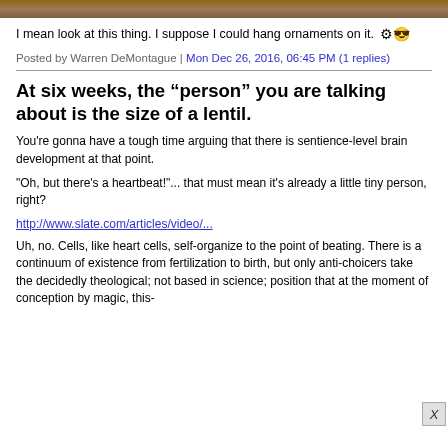[Figure (photo): Decorative banner image at top of page, appears to be a brownish/earthy toned image]
I mean look at this thing. I suppose I could hang ornaments on it.
Posted by Warren DeMontague | Mon Dec 26, 2016, 06:45 PM (1 replies)
At six weeks, the "person" you are talking about is the size of a lentil.
You're gonna have a tough time arguing that there is sentience-level brain development at that point.
"Oh, but there's a heartbeat!"... that must mean it's already a little tiny person, right?
http://www.slate.com/articles/video/...
Uh, no. Cells, like heart cells, self-organize to the point of beating. There is a continuum of existence from fertilization to birth, but only anti-choicers take the decidedly theological; not based in science; position that at the moment of conception by magic, this-